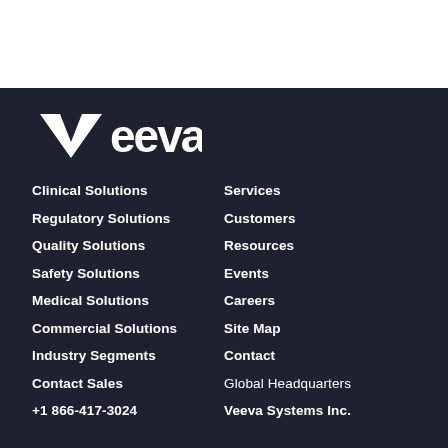[Figure (logo): Veeva logo in white on dark background]
Clinical Solutions
Regulatory Solutions
Quality Solutions
Safety Solutions
Medical Solutions
Commercial Solutions
Industry Segments
Contact Sales
+1 866-417-3024
Services
Customers
Resources
Events
Careers
Site Map
Contact
Global Headquarters
Veeva Systems Inc.